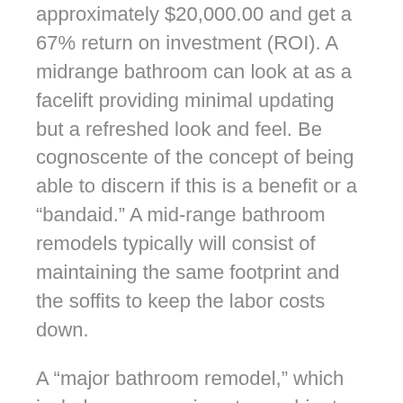approximately $20,000.00 and get a 67% return on investment (ROI). A midrange bathroom can look at as a facelift providing minimal updating but a refreshed look and feel. Be cognoscente of the concept of being able to discern if this is a benefit or a “bandaid.” A mid-range bathroom remodels typically will consist of maintaining the same footprint and the soffits to keep the labor costs down.
A “major bathroom remodel,” which includes new semi-custom cabinets, laminate countertops, most appliances, lighting, and flooring, has a national average of approximately $64,000.00 and a 60% ROI. A significant bathroom can improve the functionality and feel of the space for years to come. Taking out
Soffits alone can make or break an updated result. Don’t consider leaving the soffits to save minimally